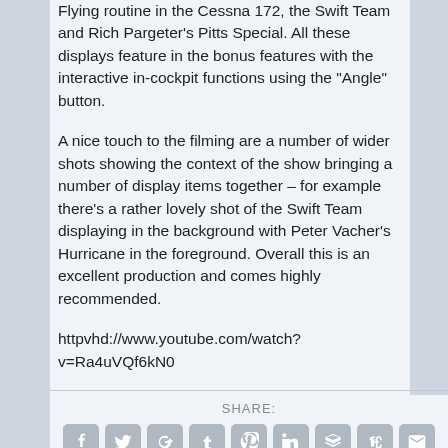Flying routine in the Cessna 172, the Swift Team and Rich Pargeter’s Pitts Special. All these displays feature in the bonus features with the interactive in-cockpit functions using the “Angle” button.
A nice touch to the filming are a number of wider shots showing the context of the show bringing a number of display items together – for example there’s a rather lovely shot of the Swift Team displaying in the background with Peter Vacher’s Hurricane in the foreground. Overall this is an excellent production and comes highly recommended.
httpvhd://www.youtube.com/watch?v=Ra4uVQf6kN0
SHARE:
[Figure (other): Row of 9 social media share icon buttons (Facebook, Twitter, Google+, Tumblr, Pinterest, LinkedIn, and others) in grey rounded square style]